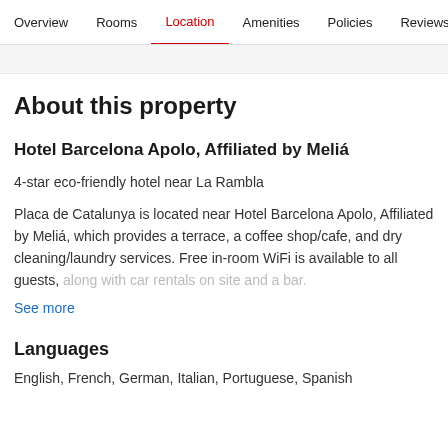Overview  Rooms  Location  Amenities  Policies  Reviews
About this property
Hotel Barcelona Apolo, Affiliated by Meliá
4-star eco-friendly hotel near La Rambla
Placa de Catalunya is located near Hotel Barcelona Apolo, Affiliated by Meliá, which provides a terrace, a coffee shop/cafe, and dry cleaning/laundry services. Free in-room WiFi is available to all guests, along with car rentals on site and a bar.
See more
Languages
English, French, German, Italian, Portuguese, Spanish